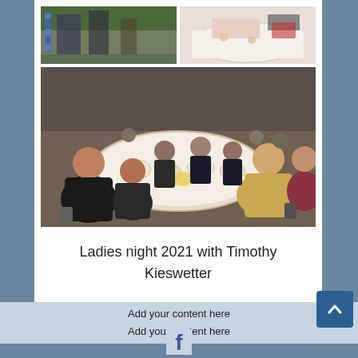[Figure (photo): Two photos side by side at top: left shows people at an event with decorations, right shows a table setting with white tablecloth]
[Figure (photo): Large group photo of women seated around a dinner table at Ladies night 2021 with Timothy Kieswetter]
Ladies night 2021 with Timothy Kieswetter
Add your content here
Add your content here